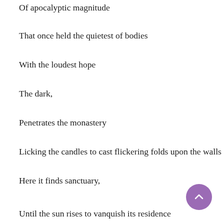Of apocalyptic magnitude
That once held the quietest of bodies
With the loudest hope
The dark,
Penetrates the monastery
Licking the candles to cast flickering folds upon the walls
Here it finds sanctuary,
Until the sun rises to vanquish its residence